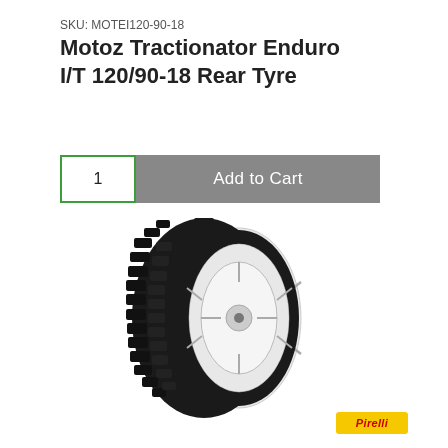SKU: MOTEI120-90-18
Motoz Tractionator Enduro I/T 120/90-18 Rear Tyre
[Figure (other): Add to Cart widget with quantity selector showing '1' in green-bordered box and grey 'Add to Cart' button]
[Figure (photo): Motoz Tractionator Enduro I/T motorcycle rear tyre mounted on white wheel, showing aggressive knobby tread pattern, photographed at slight angle]
[Figure (logo): Pirelli logo badge in yellow rectangle with red italic text]